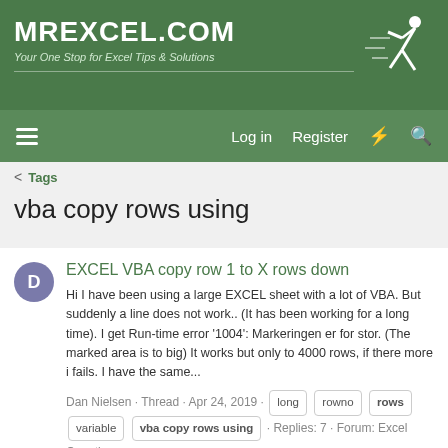MrExcel.com — Your One Stop for Excel Tips & Solutions
Log in   Register
< Tags
vba copy rows using
EXCEL VBA copy row 1 to X rows down
Hi I have been using a large EXCEL sheet with a lot of VBA. But suddenly a line does not work.. (It has been working for a long time). I get Run-time error '1004': Markeringen er for stor. (The marked area is to big) It works but only to 4000 rows, if there more i fails. I have the same...
Dan Nielsen · Thread · Apr 24, 2019 · long · rowno · rows · variable · vba copy rows using · Replies: 7 · Forum: Excel Questions
code to copy/paste entire rows based on cell